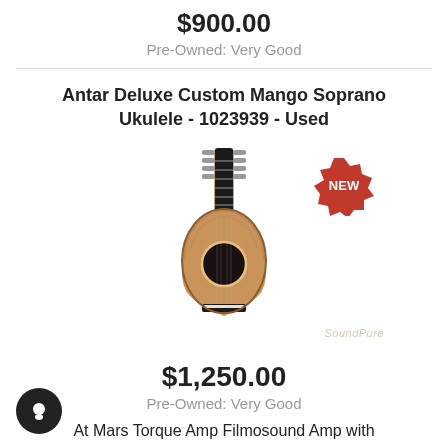$900.00
Pre-Owned: Very Good
Antar Deluxe Custom Mango Soprano Ukulele - 1023939 - Used
[Figure (photo): Photo of an Antar Deluxe Custom Mango Soprano Ukulele with figured mango wood body, black fretboard, black nut and saddle, rosette sound hole, with a red 'NEW' badge starburst in the upper right and a SoundPure watermark at the bottom.]
$1,250.00
Pre-Owned: Very Good
At Mars Torque Amp Filmosound Amp with